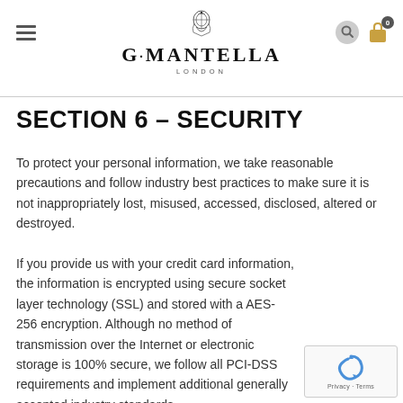G·MANTELLA LONDON
SECTION 6 – SECURITY
To protect your personal information, we take reasonable precautions and follow industry best practices to make sure it is not inappropriately lost, misused, accessed, disclosed, altered or destroyed.
If you provide us with your credit card information, the information is encrypted using secure socket layer technology (SSL) and stored with a AES-256 encryption. Although no method of transmission over the Internet or electronic storage is 100% secure, we follow all PCI-DSS requirements and implement additional generally accepted industry standards.